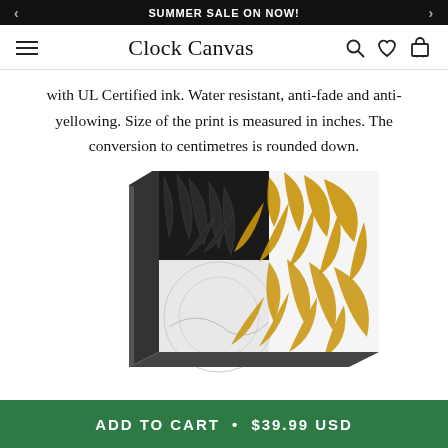SUMMER SALE ON NOW!
Clock Canvas
with UL Certified ink. Water resistant, anti-fade and anti-yellowing. Size of the print is measured in inches. The conversion to centimetres is rounded down.
[Figure (photo): Canvas wall art print showing tropical leaves in black and gold on marble background, displayed as a stretched canvas with visible depth/side]
ADD TO CART • $39.99 USD